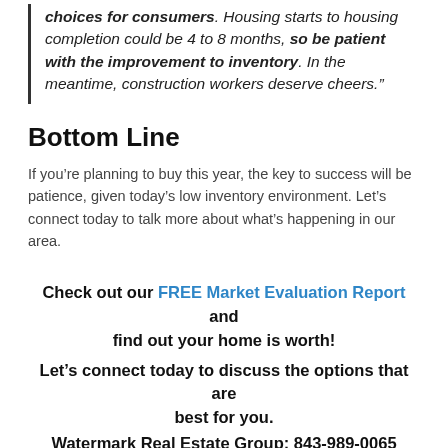choices for consumers. Housing starts to housing completion could be 4 to 8 months, so be patient with the improvement to inventory. In the meantime, construction workers deserve cheers."
Bottom Line
If you’re planning to buy this year, the key to success will be patience, given today’s low inventory environment. Let’s connect today to talk more about what’s happening in our area.
Check out our FREE Market Evaluation Report and find out your home is worth! Let’s connect today to discuss the options that are best for you. Watermark Real Estate Group: 843-989-0065